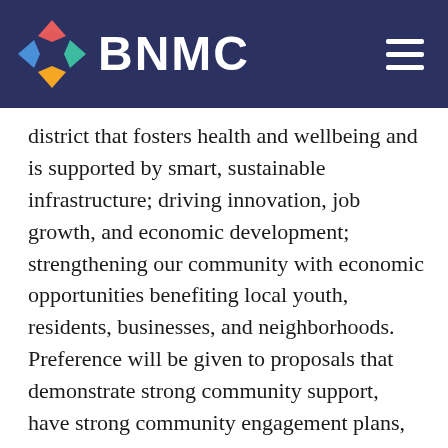BNMC
district that fosters health and wellbeing and is supported by smart, sustainable infrastructure; driving innovation, job growth, and economic development; strengthening our community with economic opportunities benefiting local youth, residents, businesses, and neighborhoods. Preference will be given to proposals that demonstrate strong community support, have strong community engagement plans, and that contribute to advancing an inclusive, vibrant community. We will give priority to projects that take place within or nearby of the Medical C…